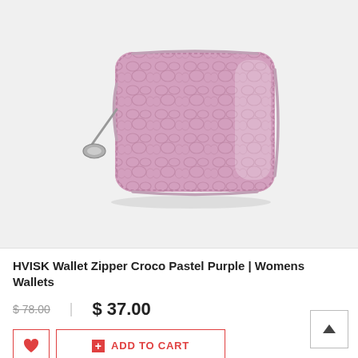[Figure (photo): Pink/pastel purple crocodile-textured zip-around wallet with silver zipper pull, shown on light gray background]
HVISK Wallet Zipper Croco Pastel Purple | Womens Wallets
$ 78.00  |  $ 37.00